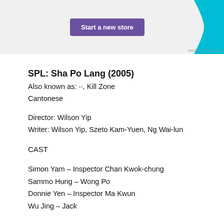[Figure (other): Advertisement banner with purple 'Start a new store' button and cyan decorative shape on right side, with 'REPORT THIS AD' text]
SPL: Sha Po Lang (2005)
Also known as: ··, Kill Zone
Cantonese
Director: Wilson Yip
Writer: Wilson Yip, Szeto Kam-Yuen, Ng Wai-lun
CAST
Simon Yam – Inspector Chan Kwok-chung
Sammo Hung – Wong Po
Donnie Yen – Inspector Ma Kwun
Wu Jing – Jack